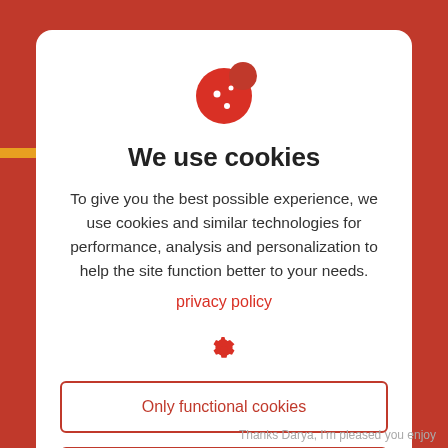[Figure (illustration): Red cookie icon with white dots and a bite taken out]
We use cookies
To give you the best possible experience, we use cookies and similar technologies for performance, analysis and personalization to help the site function better to your needs.
privacy policy
[Figure (illustration): Red gear/settings icon]
Only functional cookies
Accept all
Thanks Darya, I'm pleased you enjoy